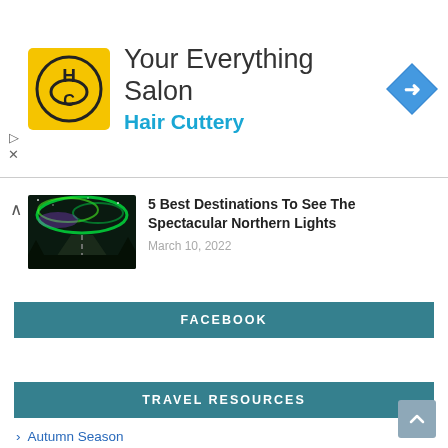[Figure (logo): Hair Cuttery advertisement banner with HC logo, text 'Your Everything Salon' and 'Hair Cuttery', and a navigation arrow icon]
5 Best Destinations To See The Spectacular Northern Lights
March 10, 2022
FACEBOOK
TRAVEL RESOURCES
› Autumn Season
› Travel Asia
› Travel Bucket List
› Travel Feature